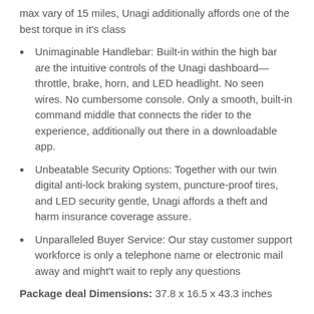max vary of 15 miles, Unagi additionally affords one of the best torque in it's class
Unimaginable Handlebar: Built-in within the high bar are the intuitive controls of the Unagi dashboard—throttle, brake, horn, and LED headlight. No seen wires. No cumbersome console. Only a smooth, built-in command middle that connects the rider to the experience, additionally out there in a downloadable app.
Unbeatable Security Options: Together with our twin digital anti-lock braking system, puncture-proof tires, and LED security gentle, Unagi affords a theft and harm insurance coverage assure.
Unparalleled Buyer Service: Our stay customer support workforce is only a telephone name or electronic mail away and might't wait to reply any questions
Package deal Dimensions: 37.8 x 16.5 x 43.3 inches